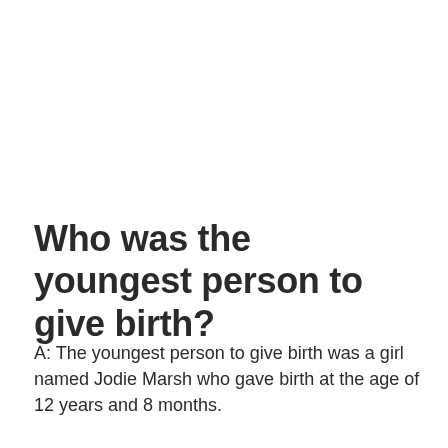Who was the youngest person to give birth?
A: The youngest person to give birth was a girl named Jodie Marsh who gave birth at the age of 12 years and 8 months.